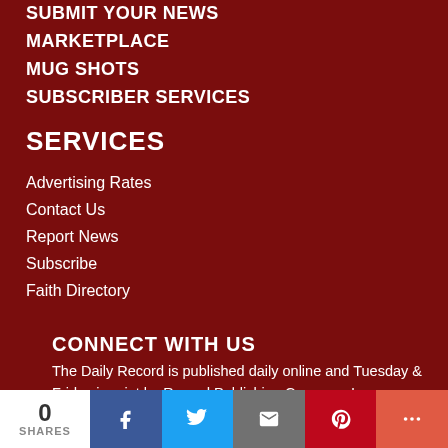SUBMIT YOUR NEWS
MARKETPLACE
MUG SHOTS
SUBSCRIBER SERVICES
SERVICES
Advertising Rates
Contact Us
Report News
Subscribe
Faith Directory
CONNECT WITH US
The Daily Record is published daily online and Tuesday & Friday in print by Record Publishing Company Inc.
99 W. Broad Street
0 SHARES